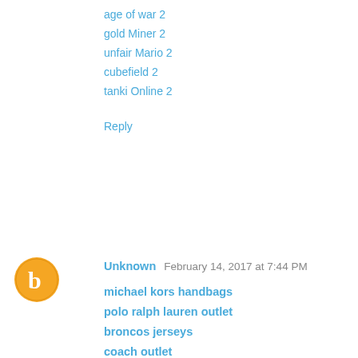age of war 2
gold Miner 2
unfair Mario 2
cubefield 2
tanki Online 2
Reply
[Figure (illustration): Blogger user avatar icon: orange circle with white 'b' letter]
Unknown  February 14, 2017 at 7:44 PM
michael kors handbags
polo ralph lauren outlet
broncos jerseys
coach outlet
canada goose jackets
chicago bulls jersey
ray ban sunglasses
cleveland cavaliers jersey
michael kors outlet
detroit lions jerseys
Reply